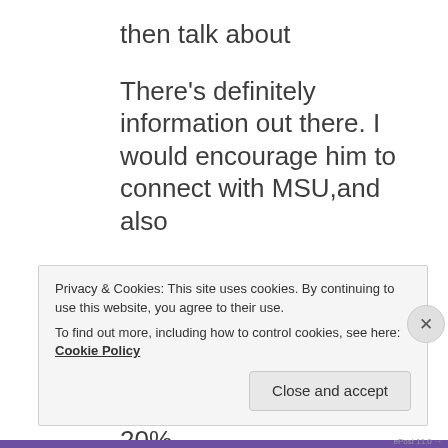then talk about
There’s definitely information out there. I would encourage him to connect with MSU,and also
Bob Quinn, organics, neat thing going on, makes an oil he sells to schools, takes spent fuel back, then treats it, runs 20%
Privacy & Cookies: This site uses cookies. By continuing to use this website, you agree to their use.
To find out more, including how to control cookies, see here: Cookie Policy
[Close and accept]